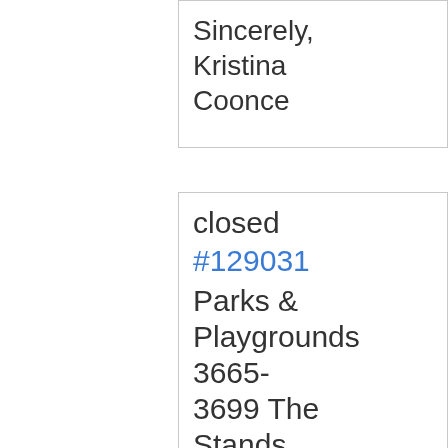Sincerely,
Kristina Coonce
closed #129031 Parks & Playgrounds 3665-3699 The Stands Rd
Case Date: 9/29/2
Water fountain only works when pushed on